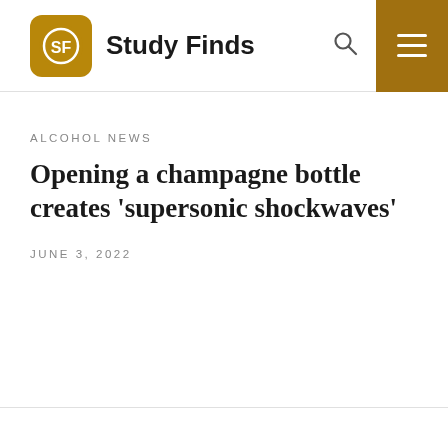Study Finds
ALCOHOL NEWS
Opening a champagne bottle creates 'supersonic shockwaves'
JUNE 3, 2022